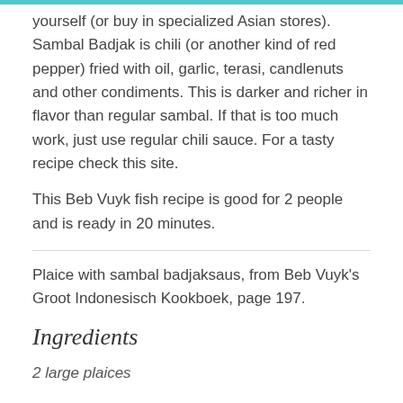yourself (or buy in specialized Asian stores). Sambal Badjak is chili (or another kind of red pepper) fried with oil, garlic, terasi, candlenuts and other condiments. This is darker and richer in flavor than regular sambal. If that is too much work, just use regular chili sauce. For a tasty recipe check this site.
This Beb Vuyk fish recipe is good for 2 people and is ready in 20 minutes.
Plaice with sambal badjaksaus, from Beb Vuyk's Groot Indonesisch Kookboek, page 197.
Ingredients
2 large plaices